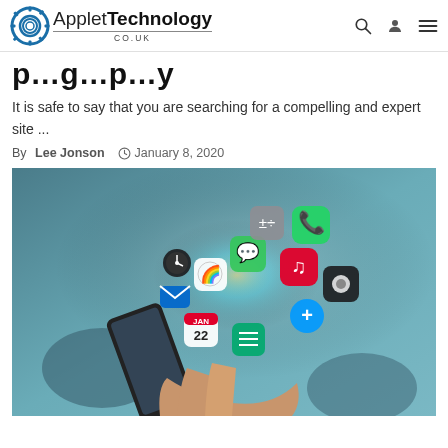Applet Technology co.uk
p…g…p…y (partial/cropped title)
It is safe to say that you are searching for a compelling and expert site ...
By Lee Jonson  January 8, 2020
[Figure (photo): Hand holding a smartphone with colorful app icons floating out of the screen in a burst of light and color — including icons for WhatsApp, Messages, Music, Calendar, Mail, Camera, and others — against a teal/blue background.]